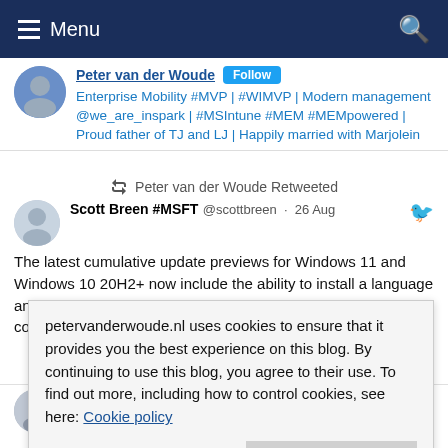Menu
Enterprise Mobility #MVP | #WIMVP | Modern management @we_are_inspark | #MSIntune #MEM #MEMpowered | Proud father of TJ and LJ | Happily married with Marjolein
Peter van der Woude Retweeted
Scott Breen #MSFT @scottbreen · 26 Aug
The latest cumulative update previews for Windows 11 and Windows 10 20H2+ now include the ability to install a language and set it as default for new user profiles with 1 PowerShell command. See
petervanderwoude.nl uses cookies to ensure that it provides you the best experience on this blog. By continuing to use this blog, you agree to their use. To find out more, including how to control cookies, see here: Cookie policy
Close and accept
Michael Niehaus @mniehaus · 27 Aug
Send MDM commands without an MDM service using PowerShell https://oofhours.com/2022/08/26/send-mdm